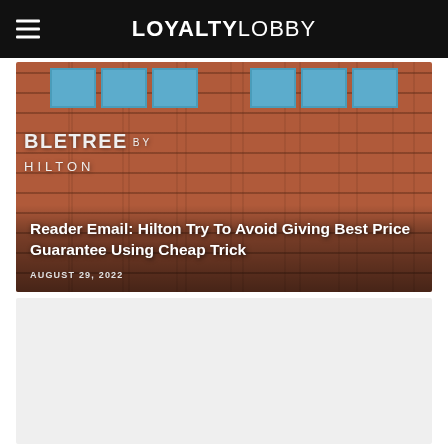LOYALTY LOBBY
[Figure (photo): Exterior of a DoubleTree by Hilton hotel building, red brick facade with teal/blue window frames, with article title overlaid on a dark gradient at the bottom of the image.]
Reader Email: Hilton Try To Avoid Giving Best Price Guarantee Using Cheap Trick
AUGUST 29, 2022